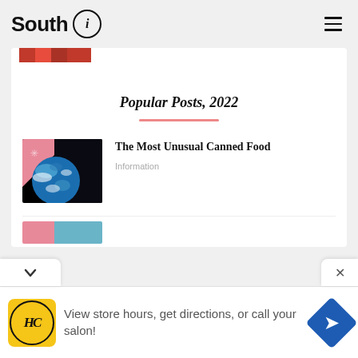South i
Popular Posts, 2022
[Figure (photo): Thumbnail image of Earth from space with pink accent, for 'The Most Unusual Canned Food' post]
The Most Unusual Canned Food
Information
[Figure (photo): Partially visible thumbnail for next post, pink and blue colors]
View store hours, get directions, or call your salon!